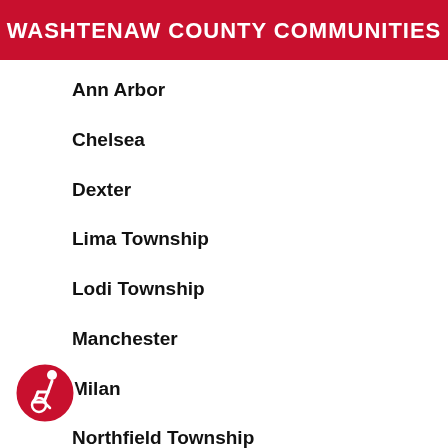WASHTENAW COUNTY COMMUNITIES
Ann Arbor
Chelsea
Dexter
Lima Township
Lodi Township
Manchester
Milan
Northfield Township
Pittsfield Township
[Figure (illustration): Accessibility icon — wheelchair user symbol in white on red circle]